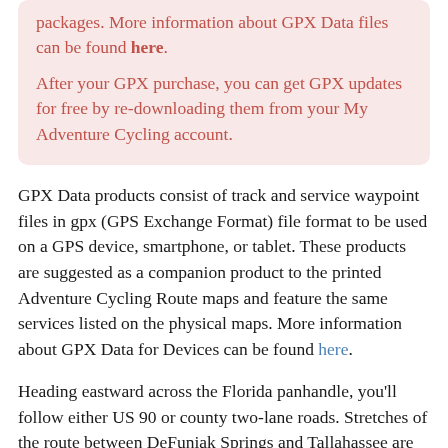packages. More information about GPX Data files can be found here. After your GPX purchase, you can get GPX updates for free by re-downloading them from your My Adventure Cycling account.
GPX Data products consist of track and service waypoint files in gpx (GPS Exchange Format) file format to be used on a GPS device, smartphone, or tablet. These products are suggested as a companion product to the printed Adventure Cycling Route maps and feature the same services listed on the physical maps. More information about GPX Data for Devices can be found here.
Heading eastward across the Florida panhandle, you'll follow either US 90 or county two-lane roads. Stretches of the route between DeFuniak Springs and Tallahassee are like parks with groomed grass